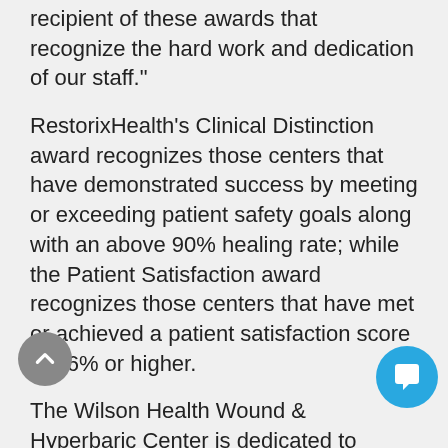recipient of these awards that recognize the hard work and dedication of our staff."
RestorixHealth's Clinical Distinction award recognizes those centers that have demonstrated success by meeting or exceeding patient safety goals along with an above 90% healing rate; while the Patient Satisfaction award recognizes those centers that have met or achieved a patient satisfaction score of 96% or higher.
The Wilson Health Wound & Hyperbaric Center is dedicated to optimizing outcomes and preventing lower limb loss in those patients with non-healing wounds. The